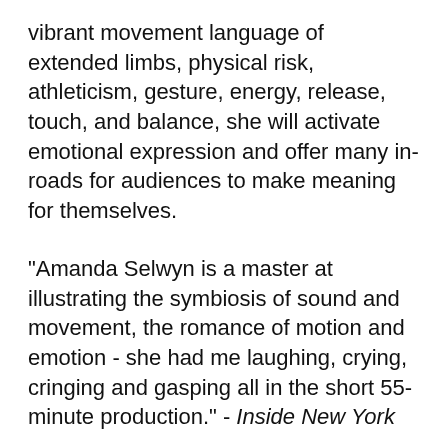vibrant movement language of extended limbs, physical risk, athleticism, gesture, energy, release, touch, and balance, she will activate emotional expression and offer many in-roads for audiences to make meaning for themselves.
"Amanda Selwyn is a master at illustrating the symbiosis of sound and movement, the romance of motion and emotion - she had me laughing, crying, cringing and gasping all in the short 55-minute production." - Inside New York
"Amanda Selwyn's work is masterly and emotionally expressive, she is truly gifted in the art of dance making." - NYC Dance Stuff